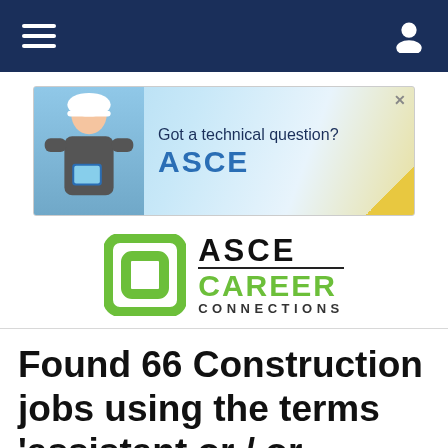Navigation bar
[Figure (illustration): Advertisement banner for ASCE: 'Got a technical question? ASCE' with a person in white hard hat holding a tablet, wind turbines in background.]
[Figure (logo): ASCE Career Connections logo with a green square bracket icon and black/green text.]
Found 66 Construction jobs using the terms 'assistant or / or